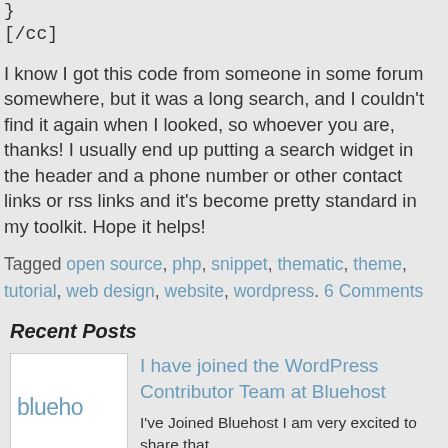}
[/cc]
I know I got this code from someone in some forum somewhere, but it was a long search, and I couldn't find it again when I looked, so whoever you are, thanks! I usually end up putting a search widget in the header and a phone number or other contact links or rss links and it's become pretty standard in my toolkit. Hope it helps!
Tagged open source, php, snippet, thematic, theme, tutorial, web design, website, wordpress. 6 Comments
Recent Posts
[Figure (logo): Bluehost logo thumbnail showing 'blueho' text in blue]
I have joined the WordPress Contributor Team at Bluehost
I've Joined Bluehost I am very excited to share that